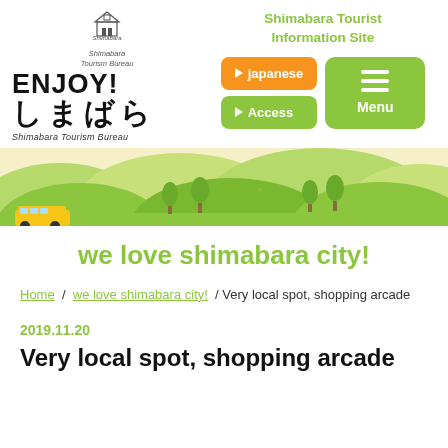[Figure (logo): Shimabara Tourism Bureau logo with small castle icon and italic text 'Shimabara Tourism Bureau']
ENJOY! しまばら Shimabara Tourism Bureau
Shimabara Tourist Information Site
[Figure (screenshot): Navigation buttons: orange 'japanese' button, green 'Access' button, green 'Menu' hamburger button]
[Figure (illustration): Scenic banner illustration of green hills, trees, and a yellow vehicle at bottom]
we love shimabara city!
Home / we love shimabara city! / Very local spot, shopping arcade
2019.11.20
Very local spot, shopping arcade